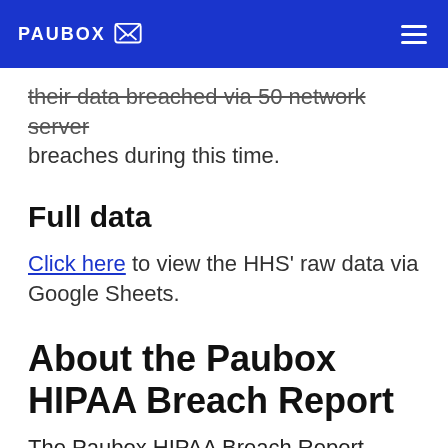PAUBOX
their data breached via 50 network server breaches during this time.
Full data
Click here to view the HHS' raw data via Google Sheets.
About the Paubox HIPAA Breach Report
The Paubox HIPAA Breach Report analyzes recent PHI breaches that affected 500 or